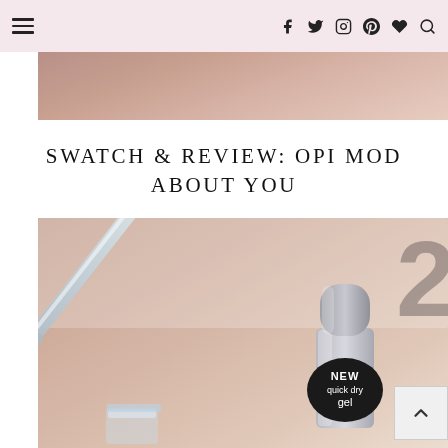Navigation header with hamburger menu and social icons: facebook, twitter, instagram, pinterest, heart, search
[Figure (photo): Partial photo of a blurred background showing skin tone, cropped at top]
SWATCH & REVIEW: OPI MOD ABOUT YOU
[Figure (photo): Close-up photo of OPI nail polish brush dripping dark lacquer, with the OPI bottle cap visible in lower right showing 'NEW quick dry gel' label, and a large numeral '2' watermark in upper right]